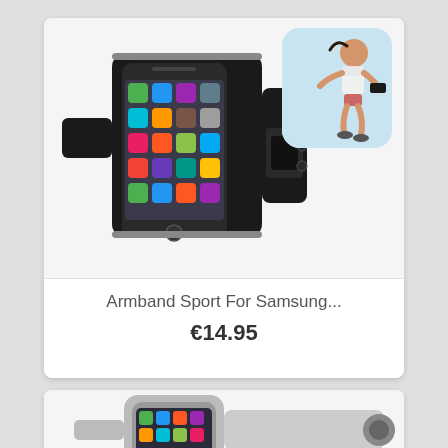[Figure (photo): Product listing card showing a black sport armband phone holder for Samsung with a small inset image of a female runner wearing the armband. Product title: Armband Sport For Samsung... Price: €14.95]
Armband Sport For Samsung...
€14.95
[Figure (photo): Partial view of a second product listing card showing a grey/white sport armband phone holder, partially visible at the bottom of the page.]